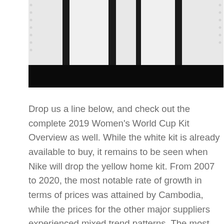[Figure (photo): Black and white striped fabric or garment, photographed from above/close-up angle, showing alternating black and white vertical stripes with small metallic studs or rivets along the edges.]
Drop us a line below, and check out the complete 2019 Women's World Cup Kit Overview as well. While the white kit is already available to buy, it remains to be seen when Nike will drop the yellow home kit. From 2007 to 2020, the most notable rate of growth in terms of prices was attained by Cambodia, while the prices for the other major suppliers experienced mixed trend patterns. The most prominent rate of growth was recorded in 2010 when the average import price increased by X% year-to-year. In general, consumption, however, saw modest growth. X in 2007; however, from 2008 to 2020, exports stood at a somewhat lower figure. Figure 8. Health Coverage for the U.S. In fact, Gaga's new tat, which includes a cross where